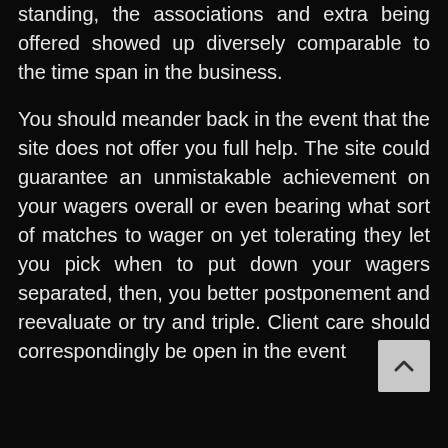standing, the associations and extra being offered showed up diversely comparable to the time span in the business.
You should meander back in the event that the site does not offer you full help. The site could guarantee an unmistakable achievement on your wagers overall or even bearing what sort of matches to wager on yet tolerating they let you pick when to put down your wagers separated, then, you better postponement and reevaluate or try and triple. Client care should correspondingly be open in the event